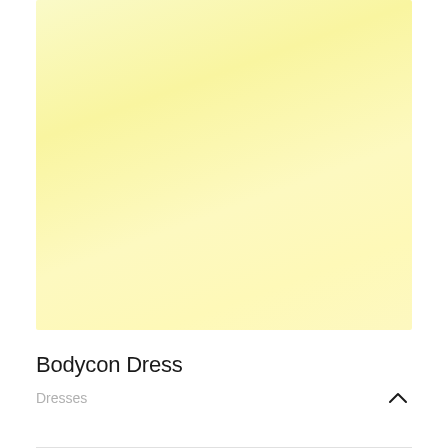[Figure (photo): Product image area showing a light yellow/cream colored bodycon dress on a pale yellow background]
Bodycon Dress
Dresses